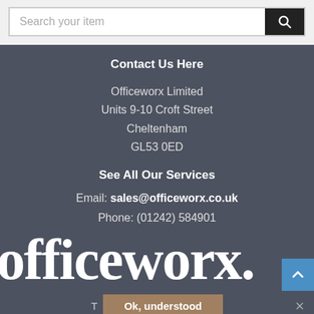[Figure (screenshot): Search bar with text 'Search your item' and a black search button with magnifying glass icon]
Contact Us Here
Officeworx Limited
Units 9-10 Croft Street
Cheltenham
GL53 0ED
See All Our Services
Email: sales@officeworx.co.uk
Phone: (01242) 584901
[Figure (logo): Large white 'officeworx' logo text in serif font on dark background]
T  Ok, understood  ×